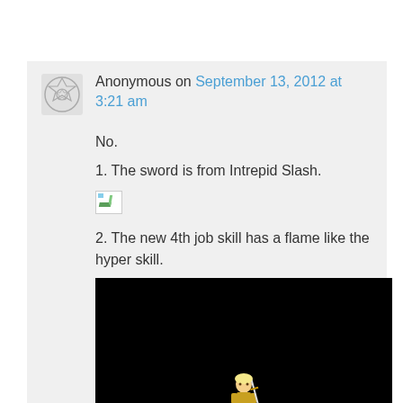Anonymous on September 13, 2012 at 3:21 am
No.
1. The sword is from Intrepid Slash.
2. The new 4th job skill has a flame like the hyper skill.
[Figure (screenshot): Black background game screenshot showing a small anime-style character sprite with a sword and Korean text caption below]